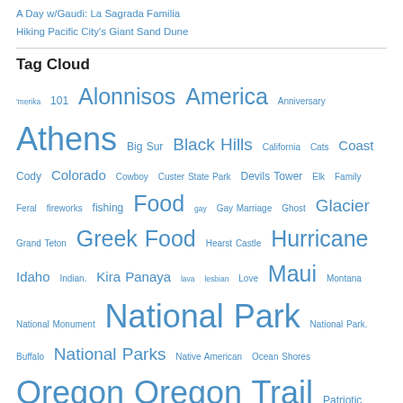A Day w/Gaudi: La Sagrada Familia
Hiking Pacific City's Giant Sand Dune
Tag Cloud
'merika 101 Alonnisos America Anniversary Athens Big Sur Black Hills California Cats Coast Cody Colorado Cowboy Custer State Park Devils Tower Elk Family Feral fireworks fishing Food gay Gay Marriage Ghost Glacier Grand Teton Greek Food Hearst Castle Hurricane Idaho Indian. Kira Panaya lava lesbian Love Maui Montana National Monument National Park National Park. Buffalo National Parks Native American Ocean Shores Oregon Oregon Trail Patriotic Pride Psathoura R-Pod Roadtrip Road Trip Rodeo RPod RV Sailing Sea Lions Seattle Skanzoura Skiathos Skiros Skopelos Skyros South